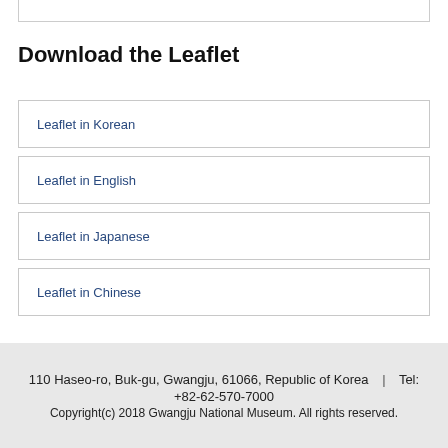Download the Leaflet
Leaflet in Korean
Leaflet in English
Leaflet in Japanese
Leaflet in Chinese
110 Haseo-ro, Buk-gu, Gwangju, 61066, Republic of Korea | Tel: +82-62-570-7000
Copyright(c) 2018 Gwangju National Museum. All rights reserved.